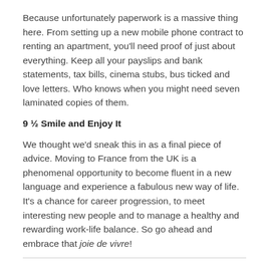Because unfortunately paperwork is a massive thing here. From setting up a new mobile phone contract to renting an apartment, you'll need proof of just about everything. Keep all your payslips and bank statements, tax bills, cinema stubs, bus ticked and love letters. Who knows when you might need seven laminated copies of them.
9 ½ Smile and Enjoy It
We thought we'd sneak this in as a final piece of advice. Moving to France from the UK is a phenomenal opportunity to become fluent in a new language and experience a fabulous new way of life. It's a chance for career progression, to meet interesting new people and to manage a healthy and rewarding work-life balance. So go ahead and embrace that joie de vivre!